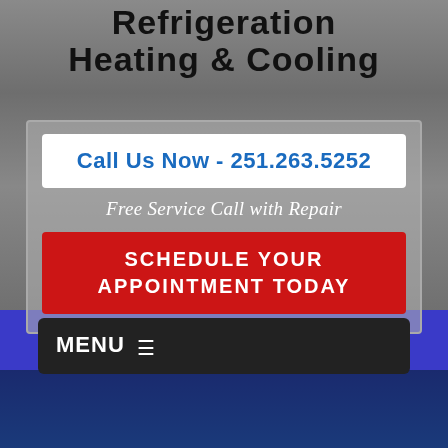Refrigeration Heating & Cooling
Call Us Now - 251.263.5252
Free Service Call with Repair
SCHEDULE YOUR APPOINTMENT TODAY
MENU ≡